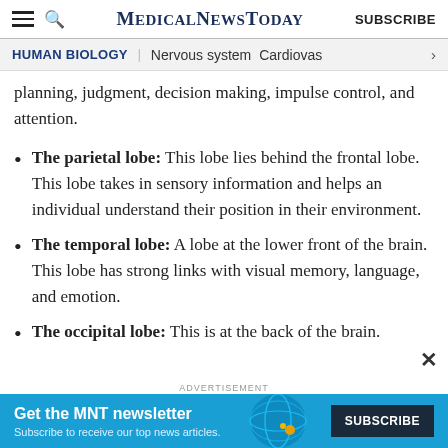MEDICALNEWSTODAY | SUBSCRIBE
HUMAN BIOLOGY | Nervous system | Cardiovas
planning, judgment, decision making, impulse control, and attention.
The parietal lobe: This lobe lies behind the frontal lobe. This lobe takes in sensory information and helps an individual understand their position in their environment.
The temporal lobe: A lobe at the lower front of the brain. This lobe has strong links with visual memory, language, and emotion.
The occipital lobe: This is at the back of the brain.
ADVERTISEMENT
Get the MNT newsletter
Subscribe to receive our top news articles.
SUBSCRIBE